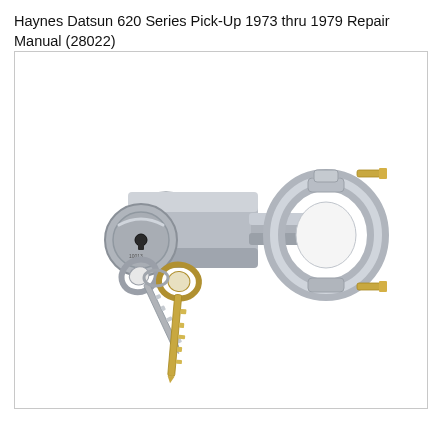Haynes Datsun 620 Series Pick-Up 1973 thru 1979 Repair Manual (28022)
[Figure (photo): Photo of a Datsun 620 ignition lock cylinder assembly (steering column lock) shown in silver/chrome metal with a clamp ring on the right side, two gold-colored electrical terminals protruding, and two keys hanging from the key slot at the lower left.]